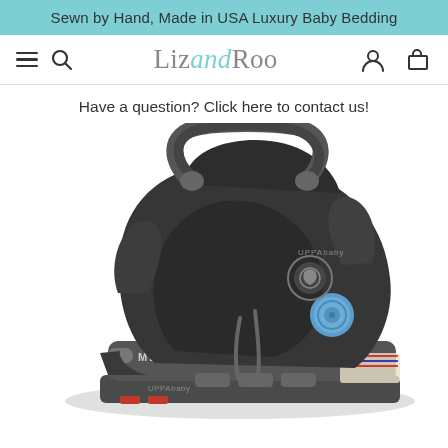Sewn by Hand, Made in USA Luxury Baby Bedding
LizandRoo
Have a question? Click here to contact us!
[Figure (photo): UPPAbaby MESA infant car seat in dark gray/charcoal color, shown at an angle with carrying handle raised, blue adjustment knob visible, base attached, product name MESA visible on side, UPPAbaby logo on front, on white background]